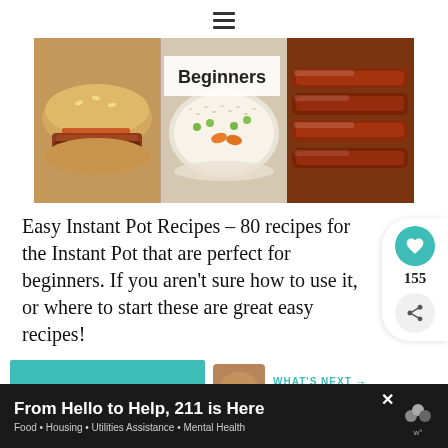≡
[Figure (photo): Food collage showing instant pot meals for beginners: pulled pork sandwich, rice with vegetables, and glazed ribs, with 'Beginners' text overlay]
Easy Instant Pot Recipes – 80 recipes for the Instant Pot that are perfect for beginners. If you aren't sure how to use it, or where to start these are great easy recipes!
READ MORE
WHAT'S NEXT → 27 Skillet Dinner...
From Hello to Help, 211 is Here
Food • Housing • Utilities Assistance • Mental Health